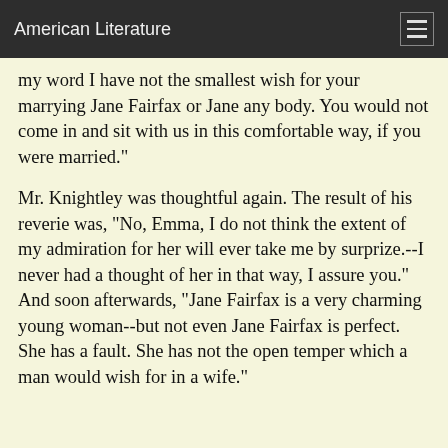American Literature
my word I have not the smallest wish for your marrying Jane Fairfax or Jane any body. You would not come in and sit with us in this comfortable way, if you were married."
Mr. Knightley was thoughtful again. The result of his reverie was, "No, Emma, I do not think the extent of my admiration for her will ever take me by surprize.--I never had a thought of her in that way, I assure you." And soon afterwards, "Jane Fairfax is a very charming young woman--but not even Jane Fairfax is perfect. She has a fault. She has not the open temper which a man would wish for in a wife."